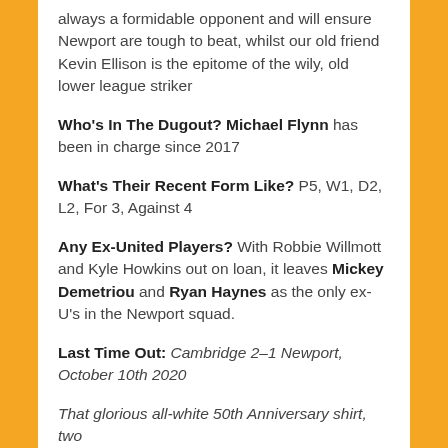always a formidable opponent and will ensure Newport are tough to beat, whilst our old friend Kevin Ellison is the epitome of the wily, old lower league striker
Who's In The Dugout? Michael Flynn has been in charge since 2017
What's Their Recent Form Like? P5, W1, D2, L2, For 3, Against 4
Any Ex-United Players? With Robbie Willmott and Kyle Howkins out on loan, it leaves Mickey Demetriou and Ryan Haynes as the only ex-U's in the Newport squad.
Last Time Out: Cambridge 2-1 Newport, October 10th 2020
That glorious all-white 50th Anniversary shirt, two